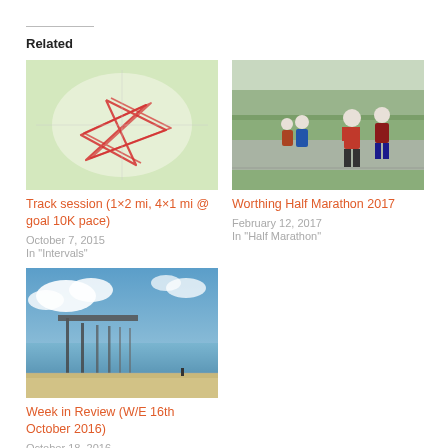Related
[Figure (map): Track route map showing red path on green/cream background]
Track session (1×2 mi, 4×1 mi @ goal 10K pace)
October 7, 2015
In "Intervals"
[Figure (photo): Runners racing in a half marathon event on a path with green field in background]
Worthing Half Marathon 2017
February 12, 2017
In "Half Marathon"
[Figure (photo): Beach scene with pier ruins and blue sky with clouds]
Week in Review (W/E 16th October 2016)
October 18, 2016
In "Updates"